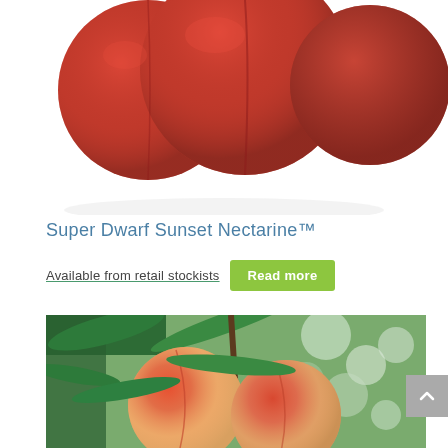[Figure (photo): Close-up photo of several red nectarines on a white background, partially cropped at the top]
Super Dwarf Sunset Nectarine™
Available from retail stockists
[Figure (photo): Photo of two ripe peaches hanging on a tree branch with green leaves, blurred background of trees]